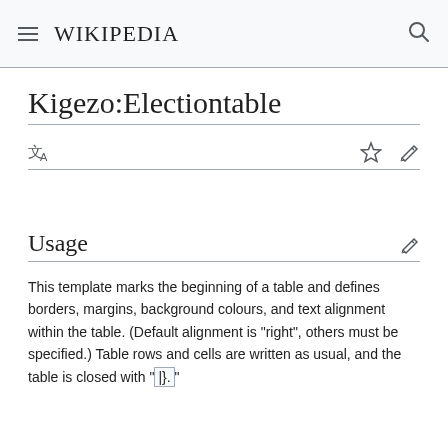Wikipedia
Kigezo:Electiontable
Usage
This template marks the beginning of a table and defines borders, margins, background colours, and text alignment within the table. (Default alignment is "right", others must be specified.) Table rows and cells are written as usual, and the table is closed with "..."